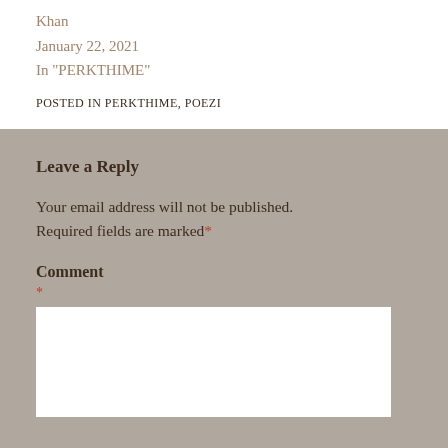Khan
January 22, 2021
In "PERKTHIME"
POSTED IN PERKTHIME, POEZI
Leave a Reply
Your email address will not be published. Required fields are marked *
Comment
*